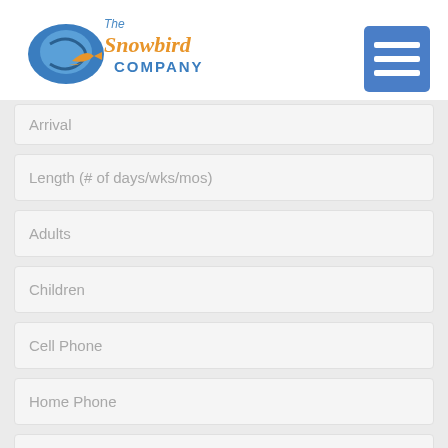[Figure (logo): The Snowbird Company logo with blue bird graphic and orange/blue text]
[Figure (other): Blue hamburger menu button with three white horizontal bars]
Arrival
Length (# of days/wks/mos)
Adults
Children
Cell Phone
Home Phone
E-Mail*